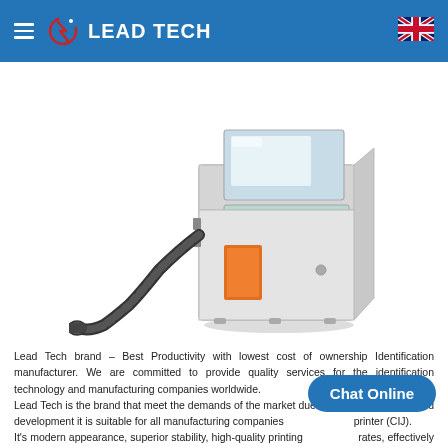LEAD TECH
[Figure (photo): Lead Tech continuous inkjet (CIJ) printer — a grey boxy device with a screen and keypad on top, an orange label on the front, connected to a flexible black hose ending in a handheld print head/nozzle.]
Lead Tech brand – Best Productivity with lowest cost of ownership Identification manufacturer. We are committed to provide quality services for the identification technology and manufacturing companies worldwide.
Lead Tech is the brand that meet the demands of the market due to effective research and development it is suitable for all manufacturing companies printer (CIJ).
It's modern appearance, superior stability, high-quality printing rates, effectively on production efficiency improvement and cost reduction.